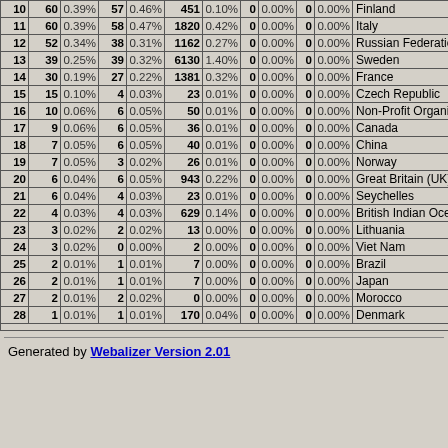| # | Hits | % | Files | % | KBytes | % | Sites | % | URLs | % | Countries |
| --- | --- | --- | --- | --- | --- | --- | --- | --- | --- | --- | --- |
| 10 | 60 | 0.39% | 57 | 0.46% | 451 | 0.10% | 0 | 0.00% | 0 | 0.00% | Finland |
| 11 | 60 | 0.39% | 58 | 0.47% | 1820 | 0.42% | 0 | 0.00% | 0 | 0.00% | Italy |
| 12 | 52 | 0.34% | 38 | 0.31% | 1162 | 0.27% | 0 | 0.00% | 0 | 0.00% | Russian Federation |
| 13 | 39 | 0.25% | 39 | 0.32% | 6130 | 1.40% | 0 | 0.00% | 0 | 0.00% | Sweden |
| 14 | 30 | 0.19% | 27 | 0.22% | 1381 | 0.32% | 0 | 0.00% | 0 | 0.00% | France |
| 15 | 15 | 0.10% | 4 | 0.03% | 23 | 0.01% | 0 | 0.00% | 0 | 0.00% | Czech Republic |
| 16 | 10 | 0.06% | 6 | 0.05% | 50 | 0.01% | 0 | 0.00% | 0 | 0.00% | Non-Profit Organiz... |
| 17 | 9 | 0.06% | 6 | 0.05% | 36 | 0.01% | 0 | 0.00% | 0 | 0.00% | Canada |
| 18 | 7 | 0.05% | 6 | 0.05% | 40 | 0.01% | 0 | 0.00% | 0 | 0.00% | China |
| 19 | 7 | 0.05% | 3 | 0.02% | 26 | 0.01% | 0 | 0.00% | 0 | 0.00% | Norway |
| 20 | 6 | 0.04% | 6 | 0.05% | 943 | 0.22% | 0 | 0.00% | 0 | 0.00% | Great Britain (UK) |
| 21 | 6 | 0.04% | 4 | 0.03% | 23 | 0.01% | 0 | 0.00% | 0 | 0.00% | Seychelles |
| 22 | 4 | 0.03% | 4 | 0.03% | 629 | 0.14% | 0 | 0.00% | 0 | 0.00% | British Indian Ocea... |
| 23 | 3 | 0.02% | 2 | 0.02% | 13 | 0.00% | 0 | 0.00% | 0 | 0.00% | Lithuania |
| 24 | 3 | 0.02% | 0 | 0.00% | 2 | 0.00% | 0 | 0.00% | 0 | 0.00% | Viet Nam |
| 25 | 2 | 0.01% | 1 | 0.01% | 7 | 0.00% | 0 | 0.00% | 0 | 0.00% | Brazil |
| 26 | 2 | 0.01% | 1 | 0.01% | 7 | 0.00% | 0 | 0.00% | 0 | 0.00% | Japan |
| 27 | 2 | 0.01% | 2 | 0.02% | 0 | 0.00% | 0 | 0.00% | 0 | 0.00% | Morocco |
| 28 | 1 | 0.01% | 1 | 0.01% | 170 | 0.04% | 0 | 0.00% | 0 | 0.00% | Denmark |
Generated by Webalizer Version 2.01